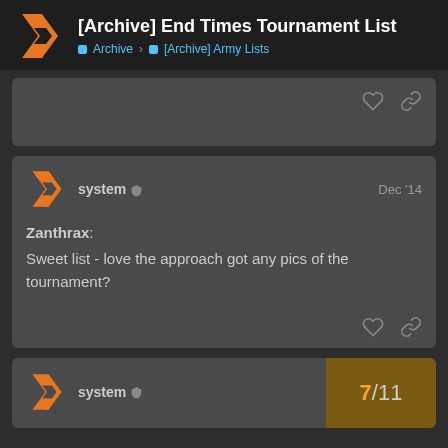[Archive] End Times Tournament List — Archive > [Archive] Army Lists
system Dec '14
Zanthrax:
Sweet list - love the approach got any pics of the tournament?
system 7/11